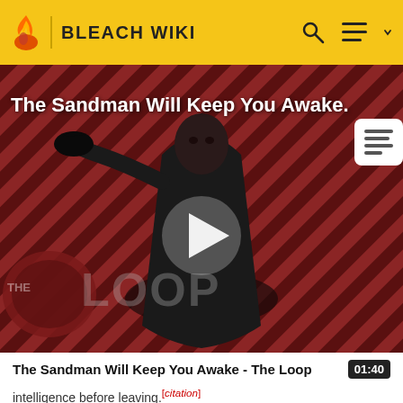BLEACH WIKI
[Figure (screenshot): Video thumbnail for 'The Sandman Will Keep You Awake - The Loop' showing a pale figure in black against a diagonal red and black striped background with THE LOOP watermark and a play button overlay]
The Sandman Will Keep You Awake - The Loop  01:40
intelligence before leaving.[citation]
After analyzing Mayuri's appearance, Askin decides to retreat from battle, claiming that he does not want to